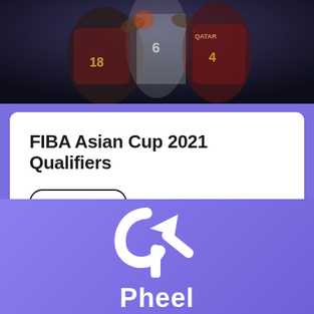[Figure (photo): Basketball players during a game, players wearing maroon/dark red and white/green uniforms with numbers 18, 6, and 4 visible]
FIBA Asian Cup 2021 Qualifiers
READ MORE
February 20, 2020
[Figure (logo): Pheel company logo — white stylized arrow/phi symbol with text 'Pheel' on purple/violet background]